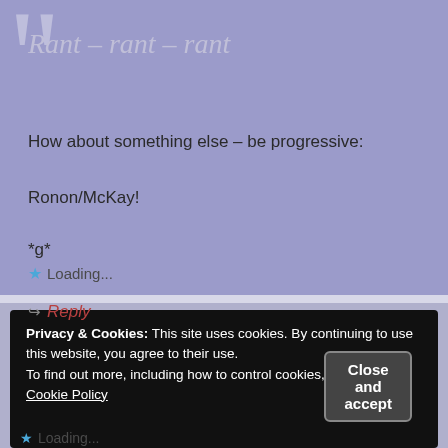Rant – rant – rant
How about something else – be progressive:
Ronon/McKay!
*g*
★ Loading...
↪ Reply
Privacy & Cookies: This site uses cookies. By continuing to use this website, you agree to their use. To find out more, including how to control cookies, see here: Cookie Policy
Close and accept